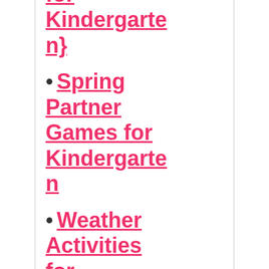for Kindergarten}
Spring Partner Games for Kindergarten
Weather Activities for Kindergarten {Math & ...